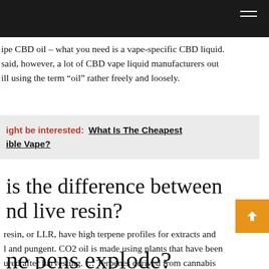ipe CBD oil – what you need is a vape-specific CBD liquid. said, however, a lot of CBD vape liquid manufacturers out ill using the term “oil” rather freely and loosely.
ight be interested: What Is The Cheapest ible Vape?
is the difference between nd live resin?
resin, or LLR, have high terpene profiles for extracts and l and pungent. CO2 oil is made using plants that have been ured after harvesting. … Terpenes derived from cannabis d back into the oil to create a more fluid substances and train’s natural terpene profile.
ne pens explode?